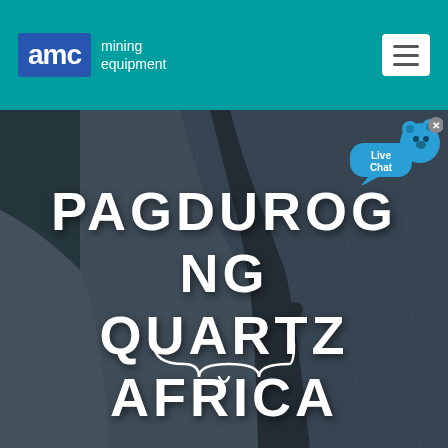[Figure (logo): AMC Mining Equipment logo with blue AMC box and white text on teal background]
[Figure (photo): Background photo of a person wearing a grey blazer/jacket, overlaid with a dark tint]
PAGDUROG NG QUARTZ AFRICA
[Figure (illustration): Live Chat bubble icon with bear mascot and close button in upper right of hero area]